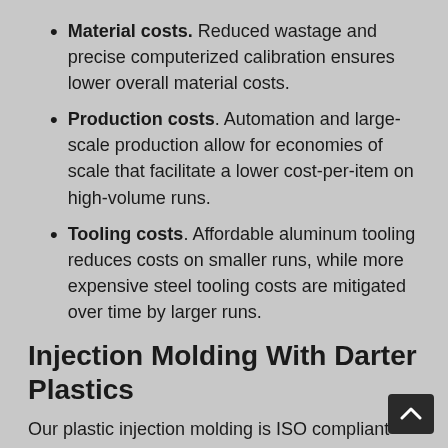Material costs. Reduced wastage and precise computerized calibration ensures lower overall material costs.
Production costs. Automation and large-scale production allow for economies of scale that facilitate a lower cost-per-item on high-volume runs.
Tooling costs. Affordable aluminum tooling reduces costs on smaller runs, while more expensive steel tooling costs are mitigated over time by larger runs.
Injection Molding With Darter Plastics
Our plastic injection molding is ISO compliant and meets high industry standards. We mold any plastic material except rigid PVC. All waste is recycled and reprocessed.
Our advanced machinery is equipped to handle thermoplastic, thermoset materials and can provide